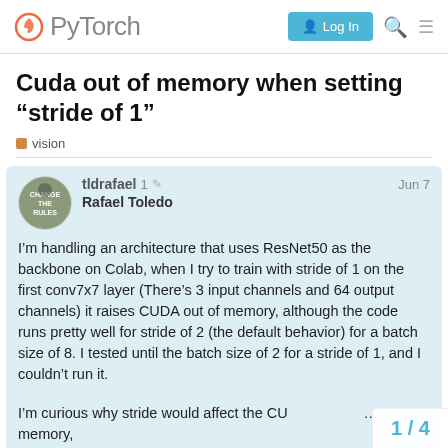PyTorch — Log In
Cuda out of memory when setting “stride of 1”
vision
tldrafael
Rafael Toledo
1 Jun 7
I’m handling an architecture that uses ResNet50 as the backbone on Colab, when I try to train with stride of 1 on the first conv7x7 layer (There’s 3 input channels and 64 output channels) it raises CUDA out of memory, although the code runs pretty well for stride of 2 (the default behavior) for a batch size of 8. I tested until the batch size of 2 for a stride of 1, and I couldn’t run it.
I’m curious why stride would affect the CU... memory, unaware of what happens under the hood...
1 / 4